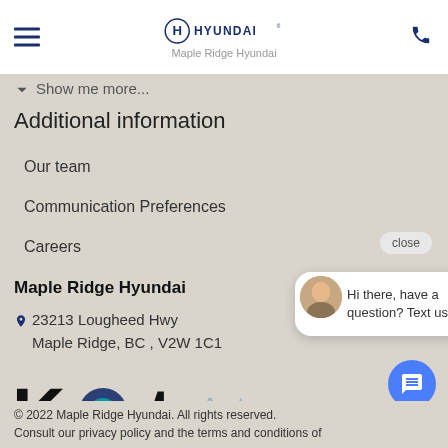Maple Ridge Hyundai
Show me more...
Additional information
Our team
Communication Preferences
Careers
Maple Ridge Hyundai
23213 Lougheed Hwy
Maple Ridge, BC, V2W 1C1
[Figure (logo): Kot Auto Group logo - black Kot text with blue circular emblem, teal Auto Group text]
Hi there, have a question? Text us here.
© 2022 Maple Ridge Hyundai. All rights reserved.
Consult our privacy policy and the terms and conditions of